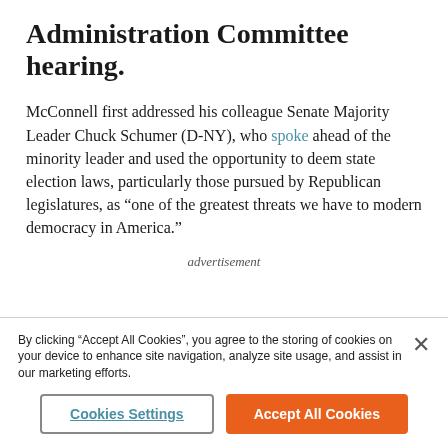Administration Committee hearing.
McConnell first addressed his colleague Senate Majority Leader Chuck Schumer (D-NY), who spoke ahead of the minority leader and used the opportunity to deem state election laws, particularly those pursued by Republican legislatures, as “one of the greatest threats we have to modern democracy in America.”
advertisement
By clicking “Accept All Cookies”, you agree to the storing of cookies on your device to enhance site navigation, analyze site usage, and assist in our marketing efforts.
Cookies Settings
Accept All Cookies